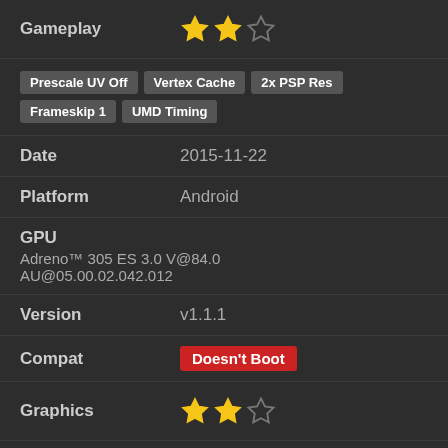Gameplay ★★☆
Prescale UV Off | Vertex Cache | 2x PSP Res | Frameskip 1 | UMD Timing
Date: 2015-11-22
Platform: Android
GPU: Adreno™ 305 ES 3.0 V@84.0 AU@05.00.02.042.012
Version: v1.1.1
Compat: Doesn't Boot
Graphics ★★☆
Speed ★☆☆
Gameplay ★☆☆